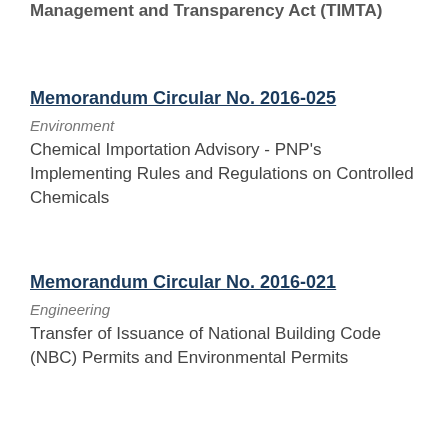Management and Transparency Act (TIMTA)
Memorandum Circular No. 2016-025
Environment
Chemical Importation Advisory - PNP's Implementing Rules and Regulations on Controlled Chemicals
Memorandum Circular No. 2016-021
Engineering
Transfer of Issuance of National Building Code (NBC) Permits and Environmental Permits